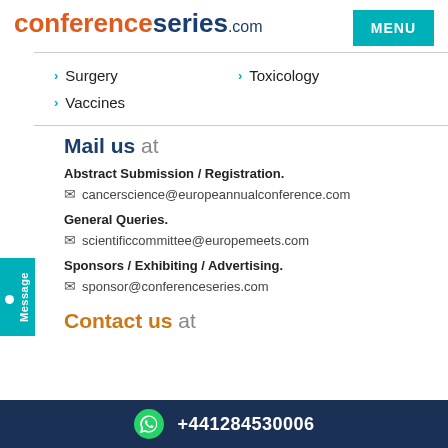conferenceseries.com
Surgery
Toxicology
Vaccines
Mail us at
Abstract Submission / Registration.
cancerscience@europeannualconference.com
General Queries.
scientificcommittee@europemeets.com
Sponsors / Exhibiting / Advertising.
sponsor@conferenceseries.com
Contact us at
+441284530006